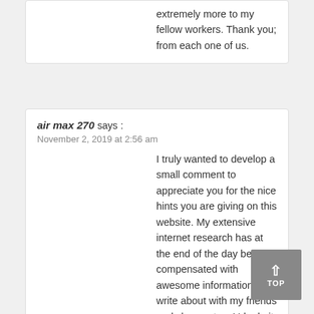extremely more to my fellow workers. Thank you; from each one of us.
air max 270 says : November 2, 2019 at 2:56 am
I truly wanted to develop a small comment to appreciate you for the nice hints you are giving on this website. My extensive internet research has at the end of the day been compensated with awesome information to write about with my friends and classmates. I 'd admit that we readers actually are quite fortunate to dwell in a decent website with many outstanding people with valuable opinions. I feel pretty blessed to have come across the website page and look forward to tons of more fabulous minutes reading here. Thanks a lot once more for everything.